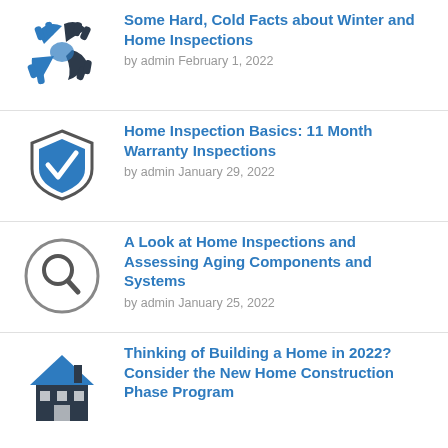[Figure (illustration): Blue and dark grey hands joined together icon]
Some Hard, Cold Facts about Winter and Home Inspections
by admin February 1, 2022
[Figure (illustration): Blue shield with white checkmark icon]
Home Inspection Basics: 11 Month Warranty Inspections
by admin January 29, 2022
[Figure (illustration): Magnifying glass inside circle icon, grey outline]
A Look at Home Inspections and Assessing Aging Components and Systems
by admin January 25, 2022
[Figure (illustration): Blue and dark house icon with windows and door]
Thinking of Building a Home in 2022? Consider the New Home Construction Phase Program